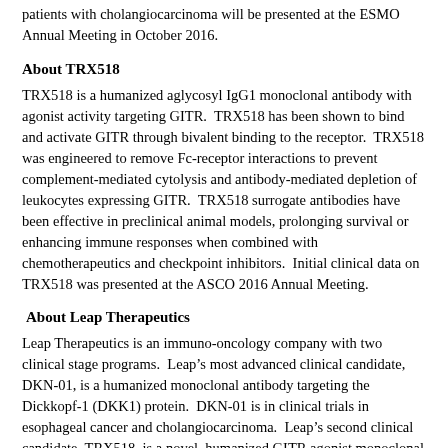patients with cholangiocarcinoma will be presented at the ESMO Annual Meeting in October 2016.
About TRX518
TRX518 is a humanized aglycosyl IgG1 monoclonal antibody with agonist activity targeting GITR.  TRX518 has been shown to bind and activate GITR through bivalent binding to the receptor.  TRX518 was engineered to remove Fc-receptor interactions to prevent complement-mediated cytolysis and antibody-mediated depletion of leukocytes expressing GITR.  TRX518 surrogate antibodies have been effective in preclinical animal models, prolonging survival or enhancing immune responses when combined with chemotherapeutics and checkpoint inhibitors.  Initial clinical data on TRX518 was presented at the ASCO 2016 Annual Meeting.
About Leap Therapeutics
Leap Therapeutics is an immuno-oncology company with two clinical stage programs.  Leap's most advanced clinical candidate, DKN-01, is a humanized monoclonal antibody targeting the Dickkopf-1 (DKK1) protein.  DKN-01 is in clinical trials in esophageal cancer and cholangiocarcinoma.  Leap's second clinical candidate, TRX518, is a novel, humanized GITR agonist monoclonal antibody designed to enhance the immune system's anti-tumor response.  TRX518 is in clinical trials in patients with advanced solid tumors.  For more information about Leap Therapeutics, please visit http://www.leaptx.com.